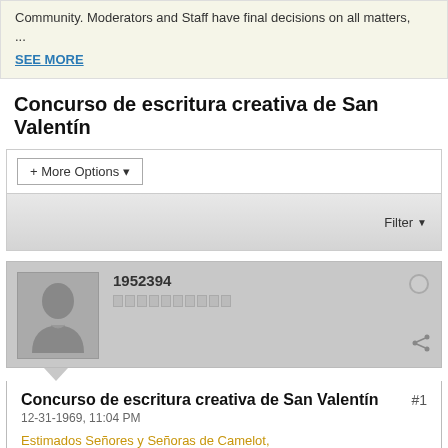Community. Moderators and Staff have final decisions on all matters, ...
SEE MORE
Concurso de escritura creativa de San Valentín
[Figure (screenshot): Forum filter UI with '+ More Options' dropdown button and 'Filter' dropdown on the right]
[Figure (screenshot): Forum post card with user avatar placeholder, username '1952394', reputation bar, online indicator dot, share icon, post title 'Concurso de escritura creativa de San Valentín', date '12-31-1969, 11:04 PM', post number '#1', and opening text 'Estimados Señores y Señoras de Camelot,']